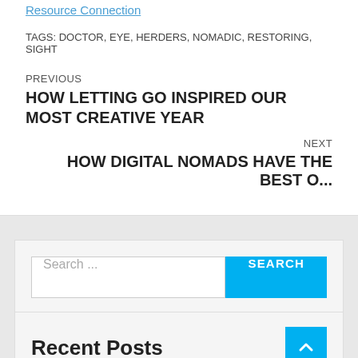Resource Connection
TAGS: DOCTOR, EYE, HERDERS, NOMADIC, RESTORING, SIGHT
PREVIOUS
HOW LETTING GO INSPIRED OUR MOST CREATIVE YEAR
NEXT
HOW DIGITAL NOMADS HAVE THE BEST O...
Search ...
Recent Posts
Cat Dad Is going Viral for Touring the International With the 8...